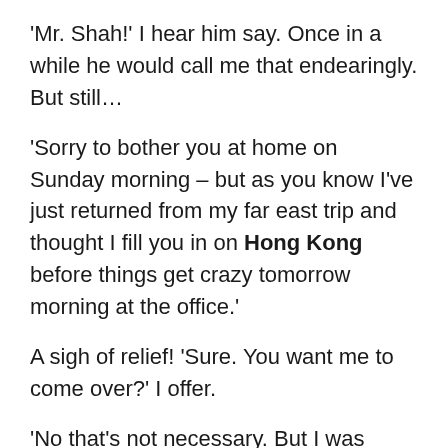'Mr. Shah!' I hear him say. Once in a while he would call me that endearingly. But still…
'Sorry to bother you at home on Sunday morning – but as you know I've just returned from my far east trip and thought I fill you in on Hong Kong before things get crazy tomorrow morning at the office.'
A sigh of relief! 'Sure. You want me to come over?' I offer.
'No that's not necessary. But I was wondering if not too inconvenient, I could stop by at your place and we can talk over a cup of delicious masala chai. You know, my body clock is upside down and I am wide awake. Would do me good to take a ride along the lake.'
About an hour or so later, his unpretentious burgundy Chevy Malibu pulled up in front of our house in the Chi…